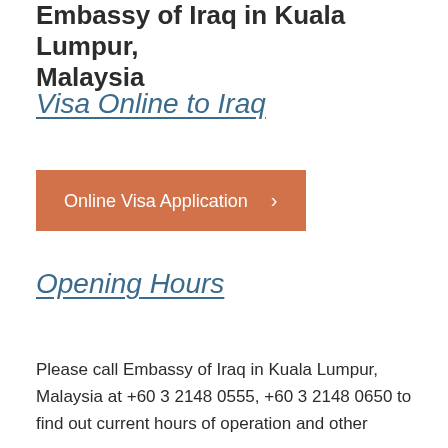Embassy of Iraq in Kuala Lumpur, Malaysia
Visa Online to Iraq
Online Visa Application ›
Opening Hours
Please call Embassy of Iraq in Kuala Lumpur, Malaysia at +60 3 2148 0555, +60 3 2148 0650 to find out current hours of operation and other